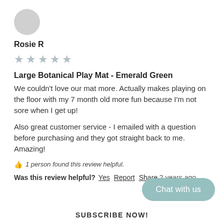[Figure (illustration): Circular grey avatar placeholder]
Rosie R
[Figure (other): 5 light grey stars rating display]
Large Botanical Play Mat - Emerald Green
We couldn't love our mat more. Actually makes playing on the floor with my 7 month old more fun because I'm not sore when I get up!
Also great customer service - I emailed with a question before purchasing and they got straight back to me. Amazing!
1 person found this review helpful.
Was this review helpful? Yes Report Share 2 years ago
Chat with us
SUBSCRIBE NOW!